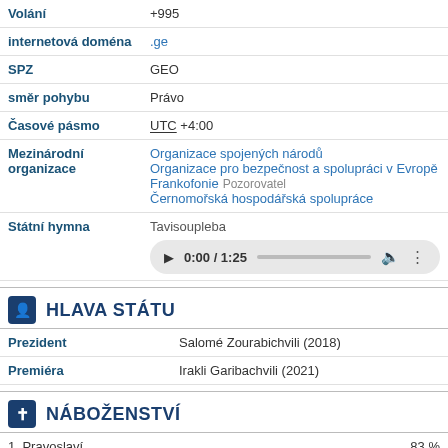| Field | Value |
| --- | --- |
| Volání | +995 |
| internetová doména | .ge |
| SPZ | GEO |
| směr pohybu | Právo |
| Časové pásmo | UTC +4:00 |
| Mezinárodní organizace | Organizace spojených národů
Organizace pro bezpečnost a spolupráci v Evropě
FrankofoniePozo rovatel
Černomořská hospodářská spolupráce |
| Státní hymna | Tavisoupleba [audio player 0:00 / 1:25] |
HLAVA STÁTU
| Role | Name |
| --- | --- |
| Prezident | Salomé Zourabichvili (2018) |
| Premiéra | Irakli Garibachvili (2021) |
NÁBOŽENSTVÍ
1. Pravoslaví   83 %
2. Islám   11 %